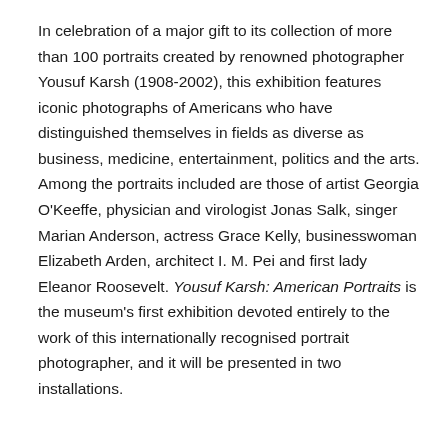In celebration of a major gift to its collection of more than 100 portraits created by renowned photographer Yousuf Karsh (1908-2002), this exhibition features iconic photographs of Americans who have distinguished themselves in fields as diverse as business, medicine, entertainment, politics and the arts. Among the portraits included are those of artist Georgia O'Keeffe, physician and virologist Jonas Salk, singer Marian Anderson, actress Grace Kelly, businesswoman Elizabeth Arden, architect I. M. Pei and first lady Eleanor Roosevelt. Yousuf Karsh: American Portraits is the museum's first exhibition devoted entirely to the work of this internationally recognised portrait photographer, and it will be presented in two installations.